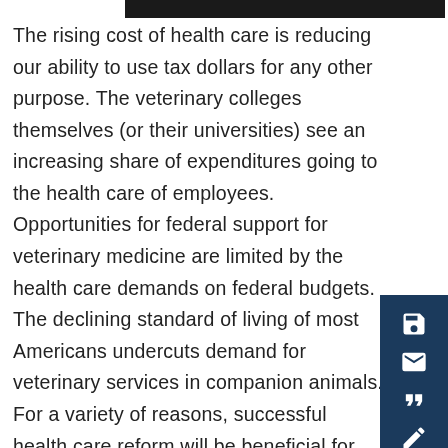The rising cost of health care is reducing our ability to use tax dollars for any other purpose. The veterinary colleges themselves (or their universities) see an increasing share of expenditures going to the health care of employees. Opportunities for federal support for veterinary medicine are limited by the health care demands on federal budgets. The declining standard of living of most Americans undercuts demand for veterinary services in companion animals. For a variety of reasons, successful health care reform will be beneficial for veterinary medicine and nearly everyone else.